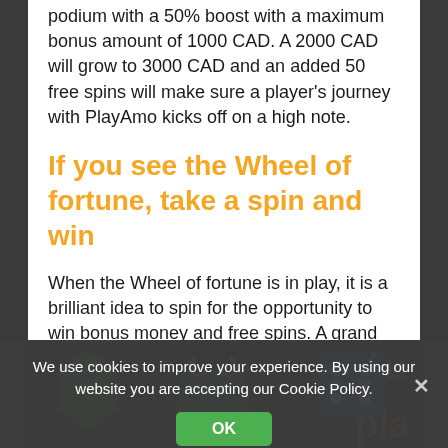podium with a 50% boost with a maximum bonus amount of 1000 CAD. A 2000 CAD will grow to 3000 CAD and an added 50 free spins will make sure a player's journey with PlayAmo kicks off on a high note.
If you see the Wheel of fortune, take a spin and win
When the Wheel of fortune is in play, it is a brilliant idea to spin for the opportunity to win bonus money and free spins. A grand 10,000 CAD can be the maximum prize but check out what is on offer at the time and spin to win!
We use cookies to improve your experience. By using our website you are accepting our Cookie Policy.